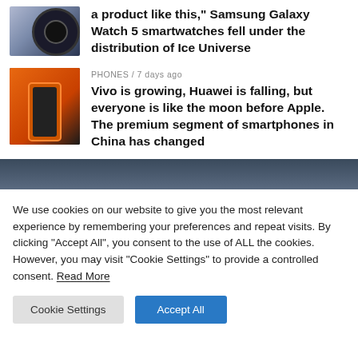[Figure (photo): Thumbnail of a Samsung Galaxy Watch 5 smartwatch on a blue/grey background]
a product like this," Samsung Galaxy Watch 5 smartwatches fell under the distribution of Ice Universe
[Figure (photo): Thumbnail of an orange Vivo smartphone on a dark background with orange surface]
PHONES / 7 days ago
Vivo is growing, Huawei is falling, but everyone is like the moon before Apple. The premium segment of smartphones in China has changed
We use cookies on our website to give you the most relevant experience by remembering your preferences and repeat visits. By clicking "Accept All", you consent to the use of ALL the cookies. However, you may visit "Cookie Settings" to provide a controlled consent. Read More